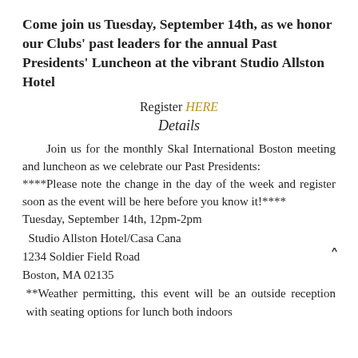Come join us Tuesday, September 14th, as we honor our Clubs' past leaders for the annual Past Presidents' Luncheon at the vibrant Studio Allston Hotel
Register HERE
Details
Join us for the monthly Skal International Boston meeting and luncheon as we celebrate our Past Presidents:
****Please note the change in the day of the week and register soon as the event will be here before you know it!****
Tuesday, September 14th, 12pm-2pm
Studio Allston Hotel/Casa Cana
1234 Soldier Field Road
Boston, MA 02135
**Weather permitting, this event will be an outside reception with seating options for lunch both indoors